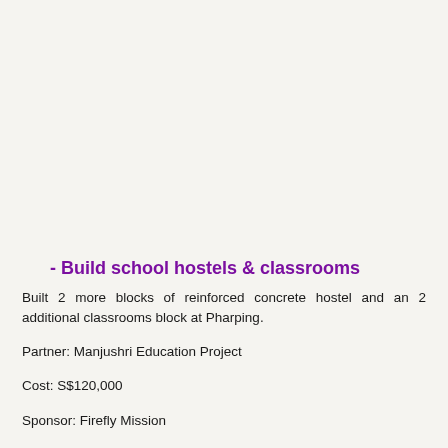- Build school hostels & classrooms
Built 2 more blocks of reinforced concrete hostel and an 2 additional classrooms block at Pharping.
Partner: Manjushri Education Project
Cost: S$120,000
Sponsor: Firefly Mission
IMO Bro Goh Kheng Boon Gabriel